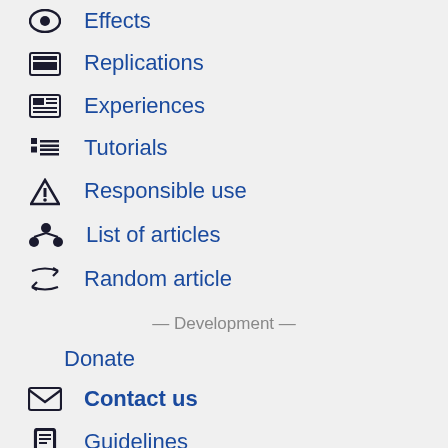Effects
Replications
Experiences
Tutorials
Responsible use
List of articles
Random article
— Development —
Donate
Contact us
Guidelines
Recent changes